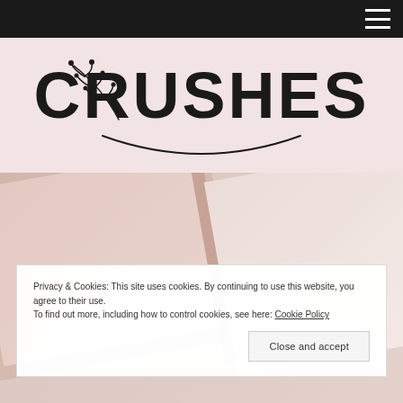[Figure (logo): Website logo showing 'CRUSHES' in bold text with a botanical/floral line drawing decoration and curved underline, on a pink background]
[Figure (photo): Close-up photograph of pink/rose-colored journals or notebooks with soft blurred background]
Privacy & Cookies: This site uses cookies. By continuing to use this website, you agree to their use.
To find out more, including how to control cookies, see here: Cookie Policy
Close and accept